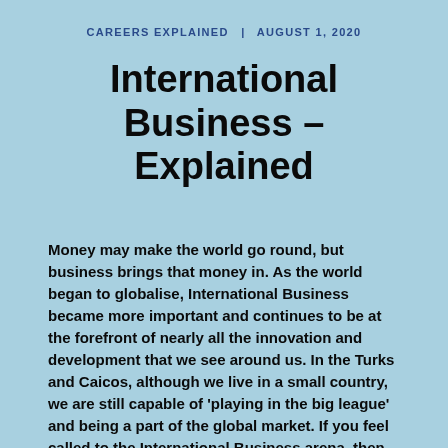CAREERS EXPLAINED   AUGUST 1, 2020
International Business – Explained
Money may make the world go round, but business brings that money in. As the world began to globalise, International Business became more important and continues to be at the forefront of nearly all the innovation and development that we see around us. In the Turks and Caicos, although we live in a small country, we are still capable of 'playing in the big league' and being a part of the global market. If you feel called to the International Business arena, then continue reading to find out more about